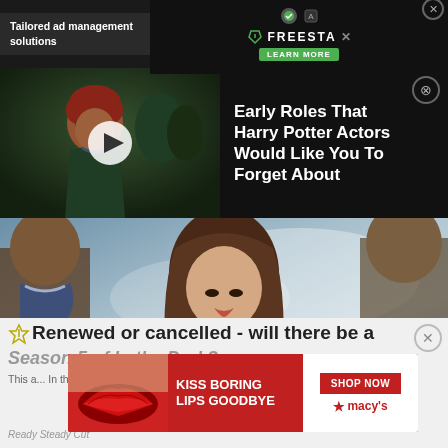[Figure (screenshot): Top ad banner: left side shows 'Tailored ad management solutions' text; right side shows Freestar logo with 'LEARN MORE' green button and close X]
[Figure (screenshot): Video thumbnail of a red-haired boy with glasses in a school setting, with a play button overlay]
Early Roles That Harry Potter Actors Would Like You To Forget About
[Figure (photo): Promotional image for 'In the Dark' TV show featuring a woman with long brown hair in a blue-grey jacket, standing outdoors with a car in the background]
Renewed or cancelled - will there be a Season 5 of In the Dark?
This article... In the Dark Season... attu...
Ready Steady Cut
[Figure (screenshot): Macy's advertisement: 'KISS BORING LIPS GOODBYE' with red lips image, SHOP NOW button and macy's logo]